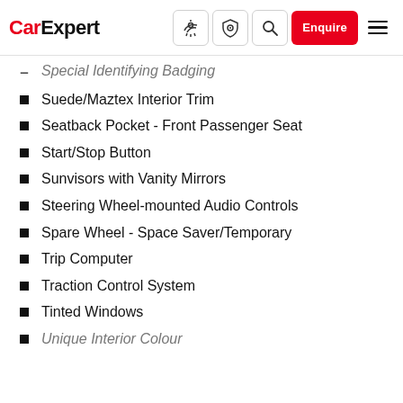CarExpert — Navigation bar with logo, icons, Enquire button, and hamburger menu
Special Identifying Badging (partial, truncated at top)
Suede/Maztex Interior Trim
Seatback Pocket - Front Passenger Seat
Start/Stop Button
Sunvisors with Vanity Mirrors
Steering Wheel-mounted Audio Controls
Spare Wheel - Space Saver/Temporary
Trip Computer
Traction Control System
Tinted Windows
Unique Interior Colour (partial, truncated at bottom)